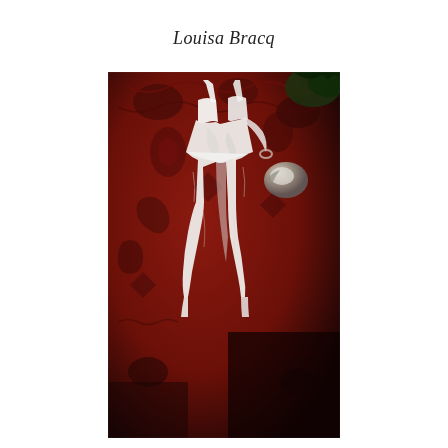Louisa Bracq
[Figure (photo): A white bodysuit or swimsuit with thin straps laid flat on a dark red ornate patterned rug or carpet. A metallic/silver round object is visible to the right side. The photo is taken from above at a slight angle, in black and white tones with the red carpet providing warm color contrast.]